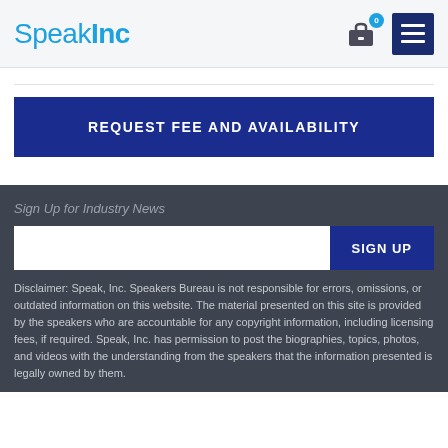SpeakInc
[Figure (logo): SpeakInc logo in blue text with briefcase icon showing badge 0 and hamburger menu button]
REQUEST FEE AND AVAILABILITY
Sign Up for Industry News
SIGN UP
Disclaimer: Speak, Inc. Speakers Bureau is not responsible for errors, omissions, or outdated information on this website. The material presented on this site is provided by the speakers who are accountable for any copyright information, including licensing fees, if required. Speak, Inc. has permission to post the biographies, topics, photos, and videos with the understanding from the speakers that the information presented is legally owned by them.